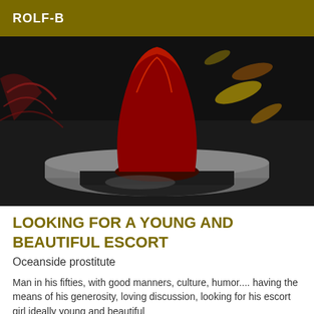ROLF-B
[Figure (photo): Close-up photograph of a red decorative object (possibly a candle or glass figurine) on a dark cylindrical base, with red wicker/twig decoration visible on the left and bokeh lighting effects in the background.]
LOOKING FOR A YOUNG AND BEAUTIFUL ESCORT
Oceanside prostitute
Man in his fifties, with good manners, culture, humor.... having the means of his generosity, loving discussion, looking for his escort girl ideally young and beautiful